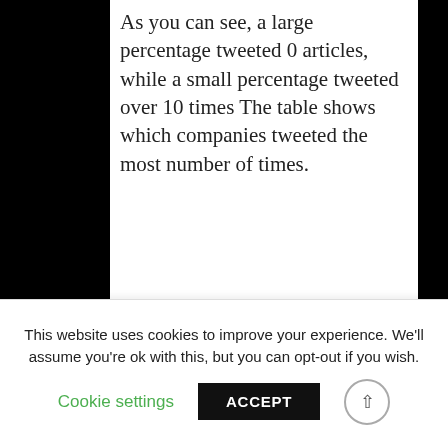As you can see, a large percentage tweeted 0 articles, while a small percentage tweeted over 10 times The table shows which companies tweeted the most number of times.
[Figure (bar-chart): Bar chart with a tall blue bar near 0.76-0.78 for '% of Companies' and a flat red line near 0.1 for 'Average Likes'. Left y-axis ranges from ~0.2 to 0.8+. Right y-axis ranges from -0.4 to 1.0.]
This website uses cookies to improve your experience. We'll assume you're ok with this, but you can opt-out if you wish.